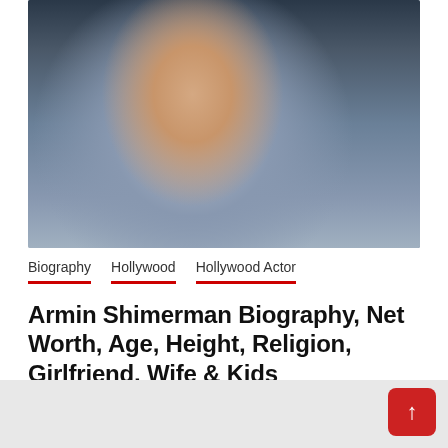[Figure (photo): Smiling middle-aged man in a grey blazer, photographed against a stylized decorative background with pattern elements]
Biography   Hollywood   Hollywood Actor
Armin Shimerman Biography, Net Worth, Age, Height, Religion, Girlfriend, Wife & Kids
August 29, 2022   News Fair